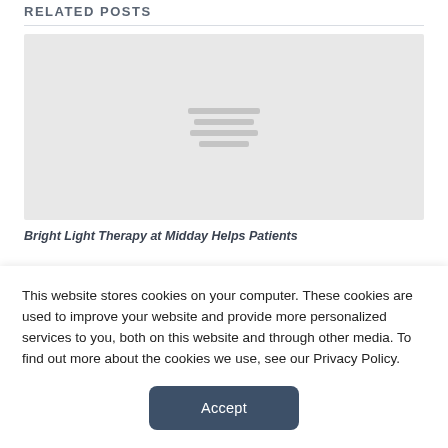RELATED POSTS
[Figure (illustration): Gray placeholder image with four horizontal lines in the center, representing a loading or missing image thumbnail for a related post.]
Bright Light Therapy at Midday Helps Patients
This website stores cookies on your computer. These cookies are used to improve your website and provide more personalized services to you, both on this website and through other media. To find out more about the cookies we use, see our Privacy Policy.
Accept